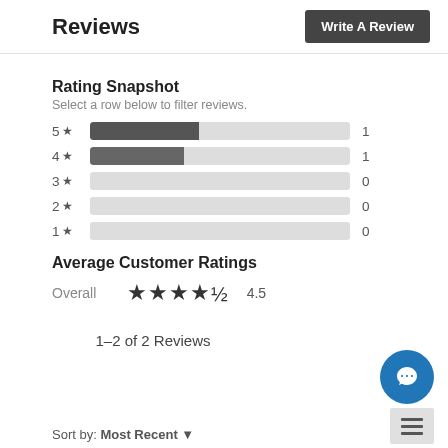Reviews
Write A Review
Rating Snapshot
Select a row below to filter reviews.
[Figure (bar-chart): Rating Snapshot]
Average Customer Ratings
Overall ★★★★½ 4.5
1–2 of 2 Reviews
Sort by: Most Recent ▼